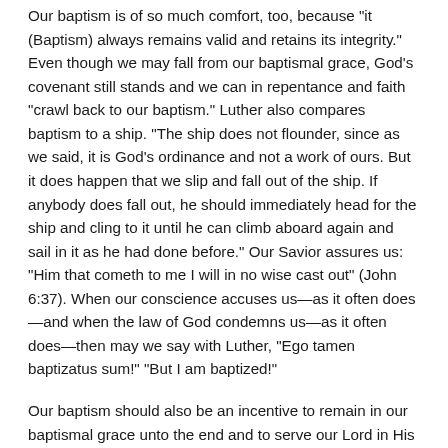Our baptism is of so much comfort, too, because "it (Baptism) always remains valid and retains its integrity." Even though we may fall from our baptismal grace, God’s covenant still stands and we can in repentance and faith “crawl back to our baptism.” Luther also compares baptism to a ship. “The ship does not flounder, since as we said, it is God’s ordinance and not a work of ours. But it does happen that we slip and fall out of the ship. If anybody does fall out, he should immediately head for the ship and cling to it until he can climb aboard again and sail in it as he had done before.” Our Savior assures us: “Him that cometh to me I will in no wise cast out” (John 6:37). When our conscience accuses us—as it often does—and when the law of God condemns us—as it often does—then may we say with Luther, “Ego tamen baptizatus sum!” “But I am baptized!”
Our baptism should also be an incentive to remain in our baptismal grace unto the end and to serve our Lord in His kingdom these years we are permitted to live in this world.